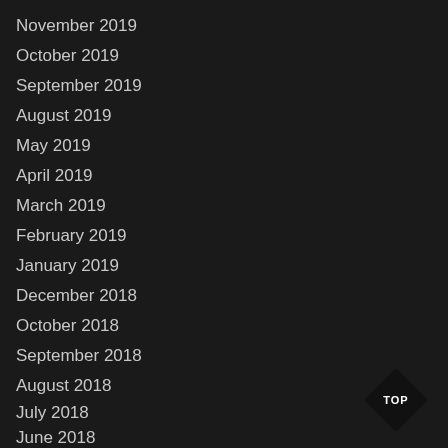November 2019
October 2019
September 2019
August 2019
May 2019
April 2019
March 2019
February 2019
January 2019
December 2018
October 2018
September 2018
August 2018
July 2018
June 2018